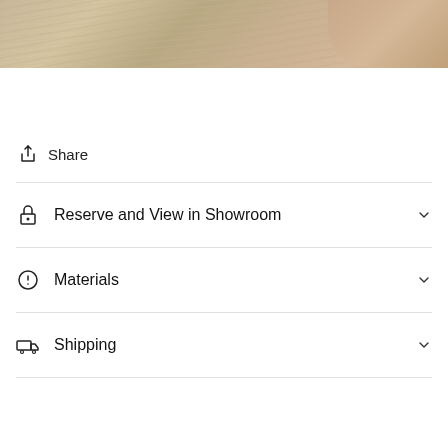[Figure (photo): Close-up photo of blonde/light brown hair and skin/neck of a person, cropped at top]
Share
Reserve and View in Showroom
Materials
Shipping